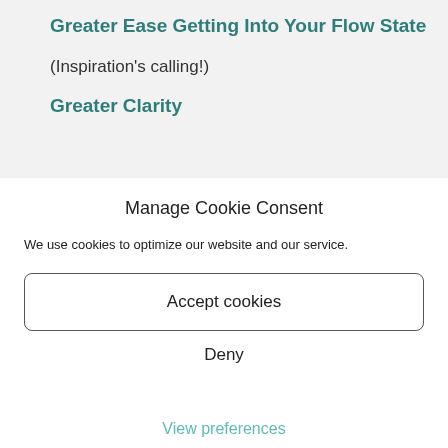Greater Ease Getting Into Your Flow State
(Inspiration's calling!)
Greater Clarity
Manage Cookie Consent
We use cookies to optimize our website and our service.
Accept cookies
Deny
View preferences